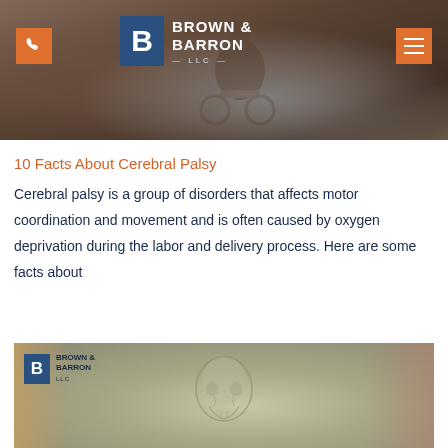[Figure (photo): Header banner image showing a person in a wheelchair, background. Brown & Barron LLC law firm logo with blue square B icon and orange phone button and orange hamburger menu button overlaid.]
10 Facts About Cerebral Palsy
Cerebral palsy is a group of disorders that affects motor coordination and movement and is often caused by oxygen deprivation during the labor and delivery process. Here are some facts about
[Figure (photo): Bottom image showing a brain/skull X-ray with Brown & Barron LLC logo overlay in the upper left. Blurred figures on left and right edges.]